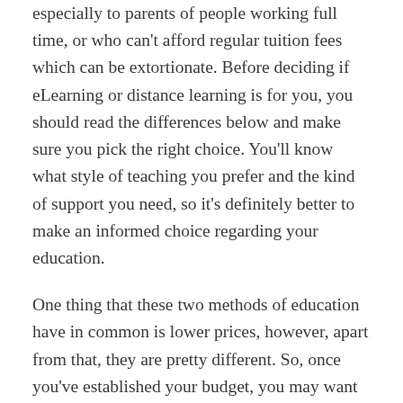especially to parents of people working full time, or who can't afford regular tuition fees which can be extortionate. Before deciding if eLearning or distance learning is for you, you should read the differences below and make sure you pick the right choice. You'll know what style of teaching you prefer and the kind of support you need, so it's definitely better to make an informed choice regarding your education.
One thing that these two methods of education have in common is lower prices, however, apart from that, they are pretty different. So, once you've established your budget, you may want to consider the following factors before picking a course:
Flexibility